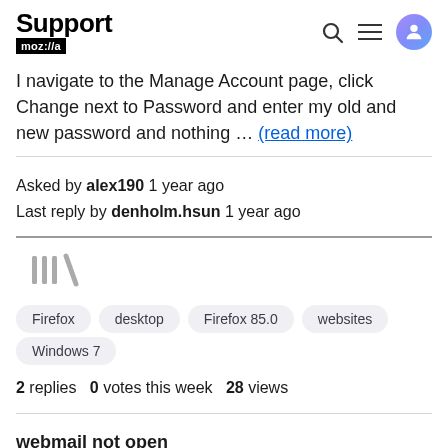Support moz://a
I navigate to the Manage Account page, click Change next to Password and enter my old and new password and nothing … (read more)
Asked by alex190 1 year ago
Last reply by denholm.hsun 1 year ago
[Figure (illustration): Decorative vertical bar icon]
Firefox
desktop
Firefox 85.0
websites
Windows 7
2 replies  0 votes this week  28 views
webmail not open
my webmail is not open what i should do